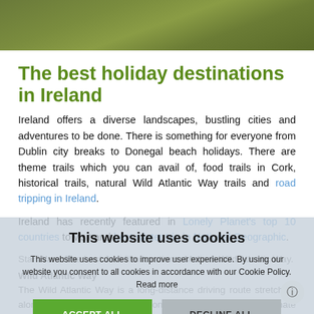[Figure (photo): Grassy landscape, overhead view of green grass/vegetation for hero image]
The best holiday destinations in Ireland
Ireland offers a diverse landscapes, bustling cities and adventures to be done. There is something for everyone from Dublin city breaks to Donegal beach holidays. There are theme trails which you can avail of, food trails in Cork, historical trails, natural Wild Atlantic Way trails and road tripping in Ireland.
Ireland has recently featured in Lonely Planet’s top 10 countries to visit and best winter trip in National Geographic.
Star Wars: The Last Jedi film locations: Malin & Wild Atlantic Way...
Wild Atlantic Way
The Wild Atlantic Way is a long-distance driving route stretching along the Atlantic coast from Donegal to Waterford, approximate 2,500k...
This website uses cookies
This website uses cookies to improve user experience. By using our website you consent to all cookies in accordance with our Cookie Policy. Read more
ACCEPT ALL
DECLINE ALL
⚙ SHOW DETAILS